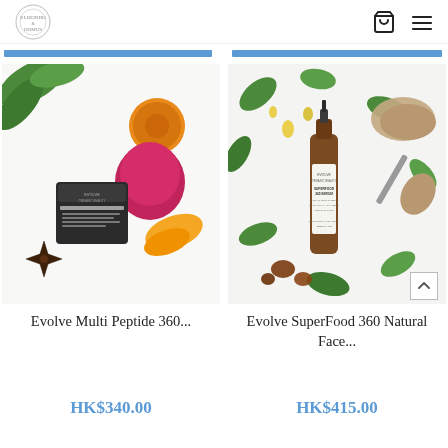Elizondo & Domus logo, cart icon, menu icon
[Figure (photo): Product photo of Evolve Multi Peptide 360 cream jar surrounded by natural ingredients: orange slices, star anise, dragon fruit, and green leaves on a white background]
[Figure (photo): Product photo of Evolve SuperFood 360 Natural Face serum bottle surrounded by green leaves, seeds, powder, nuts, and oil drops on a white background]
Evolve Multi Peptide 360...
HK$340.00
Evolve SuperFood 360 Natural Face...
HK$415.00